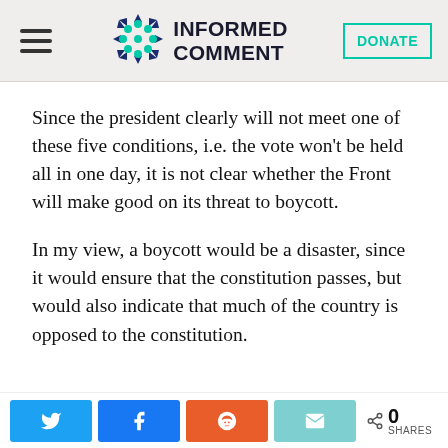INFORMED COMMENT
Since the president clearly will not meet one of these five conditions, i.e. the vote won't be held all in one day, it is not clear whether the Front will make good on its threat to boycott.
In my view, a boycott would be a disaster, since it would ensure that the constitution passes, but would also indicate that much of the country is opposed to the constitution.
0 SHARES